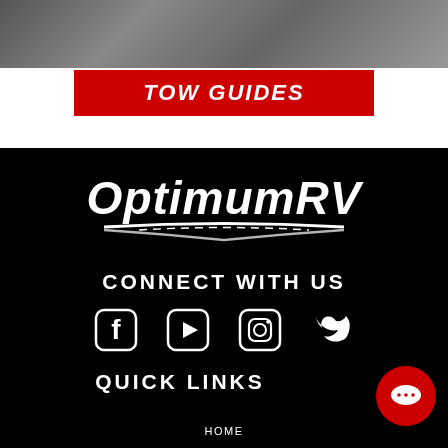[Figure (photo): Partial photo of an RV or vehicle at the top of the page]
TOW GUIDES
[Figure (logo): OptimumRV logo in white italic text with a road/stripe graphic underneath, on black background]
CONNECT WITH US
[Figure (infographic): Social media icons: Facebook, YouTube, Instagram, Twitter — in white on black background]
QUICK LINKS
HOME